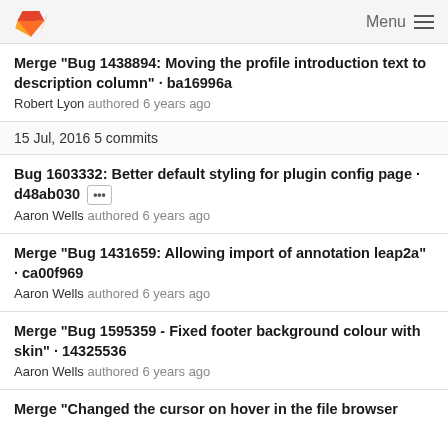Menu
Merge "Bug 1438894: Moving the profile introduction text to description column" · ba16996a
Robert Lyon authored 6 years ago
15 Jul, 2016 5 commits
Bug 1603332: Better default styling for plugin config page · d48ab030 [...]
Aaron Wells authored 6 years ago
Merge "Bug 1431659: Allowing import of annotation leap2a" · ca00f969
Aaron Wells authored 6 years ago
Merge "Bug 1595359 - Fixed footer background colour with skin" · 14325536
Aaron Wells authored 6 years ago
Merge "Changed the cursor on hover in the file browser